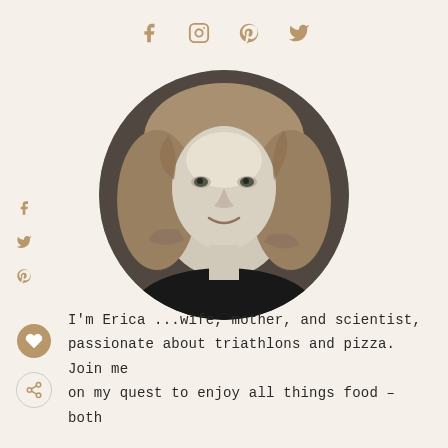[Figure (other): Social media icons (Facebook, Instagram, Pinterest, Twitter) displayed horizontally at top of page in tan/gold color]
[Figure (photo): Circular black and white portrait photo of a woman with curly hair, smiling]
[Figure (other): Left sidebar social icons: Facebook, Twitter, Pinterest in tan/gold color]
[Figure (other): Heart (like) button icon in gold circle and share button icon in white circle on bottom left]
I'm Erica ...wife, mother, and scientist, passionate about triathlons and pizza. Join me on my quest to enjoy all things food – both